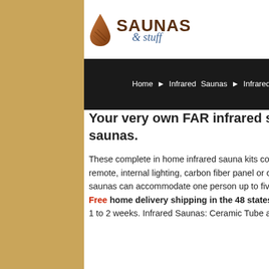SAUNAS & stuff
Home > Infrared Saunas > Infrared Saunas Hemlock | Saunas > Infrared Saunas
Your very own FAR infrared sauna is the ultimate in luxury for home saunas.
These complete in home infrared sauna kits come complete with all the amenities including stereo with remote, internal lighting, carbon fiber panel or ceramic tube heaters and more. Our wide selection of infrared saunas can accommodate one person up to five persons. Free home delivery shipping in the 48 states so your family can start enjoying these infrared saunas within 1 to 2 weeks. Infrared Saunas: Ceramic Tube and Carbon Tech heaters.